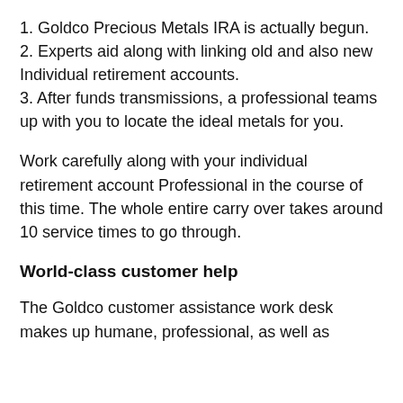1. Goldco Precious Metals IRA is actually begun.
2. Experts aid along with linking old and also new Individual retirement accounts.
3. After funds transmissions, a professional teams up with you to locate the ideal metals for you.
Work carefully along with your individual retirement account Professional in the course of this time. The whole entire carry over takes around 10 service times to go through.
World-class customer help
The Goldco customer assistance work desk makes up humane, professional, as well as